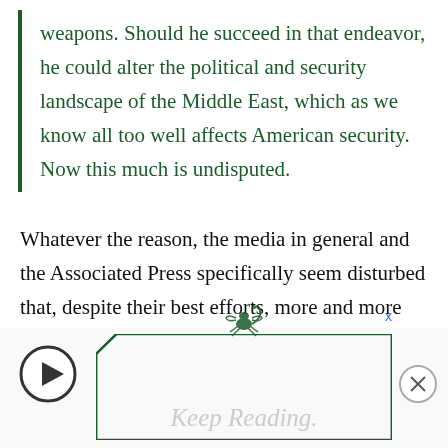weapons. Should he succeed in that endeavor, he could alter the political and security landscape of the Middle East, which as we know all too well affects American security. Now this much is undisputed.
Whatever the reason, the media in general and the Associated Press specifically seem disturbed that, despite their best efforts, more and more Americans are wending their way around them to the truth.
[Figure (other): Advertisement bar with play button, scorpion logo, green decorative border, 'Keep Reading' text in light gray, and a close (X) button]